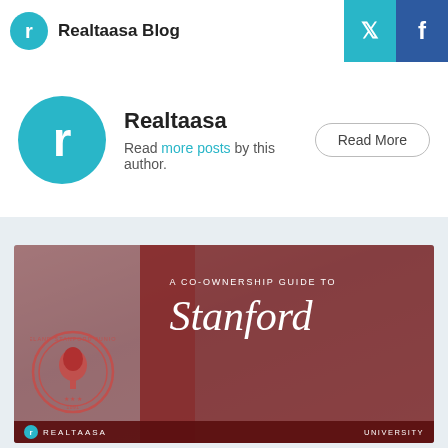Realtaasa Blog
Realtaasa
Read more posts by this author.
[Figure (illustration): A co-ownership guide to Stanford University — promotional card with aerial campus photo, Stanford seal, and text overlay on dark red background. Bottom bar shows Realtaasa branding and 'UNIVERSITY' label.]